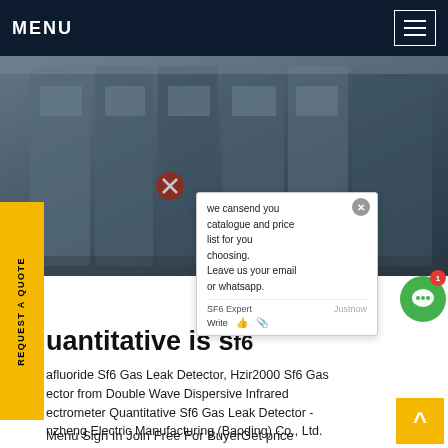MENU
[Figure (photo): Industrial electrical switchgear cabinets in an outdoor installation, bluish-grey tones]
we cansend you catalogue and price list for you choosing. Leave us your email or whatsapp.
uantitative is sf6
afluoride Sf6 Gas Leak Detector, Hzir2000 Sf6 Gas ector from Double Wave Dispersive Infrared ectrometer Quantitative Sf6 Gas Leak Detector - nzheng Electric Manufacturing (Baoding) Co., Ltd.
Menu Sign In Join Free For BuyerGet price